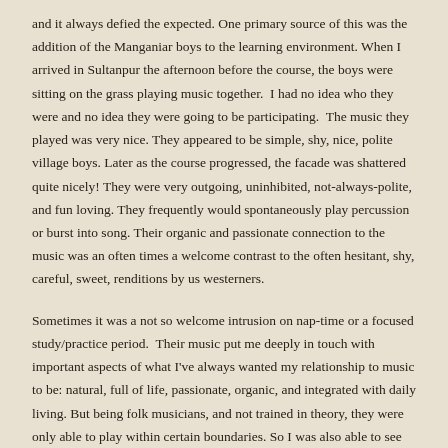and it always defied the expected. One primary source of this was the addition of the Manganiar boys to the learning environment. When I arrived in Sultanpur the afternoon before the course, the boys were sitting on the grass playing music together. I had no idea who they were and no idea they were going to be participating. The music they played was very nice. They appeared to be simple, shy, nice, polite village boys. Later as the course progressed, the facade was shattered quite nicely! They were very outgoing, uninhibited, not-always-polite, and fun loving. They frequently would spontaneously play percussion or burst into song. Their organic and passionate connection to the music was an often times a welcome contrast to the often hesitant, shy, careful, sweet, renditions by us westerners.
Sometimes it was a not so welcome intrusion on nap-time or a focused study/practice period. Their music put me deeply in touch with important aspects of what I've always wanted my relationship to music to be: natural, full of life, passionate, organic, and integrated with daily living. But being folk musicians, and not trained in theory, they were only able to play within certain boundaries. So I was also able to see the